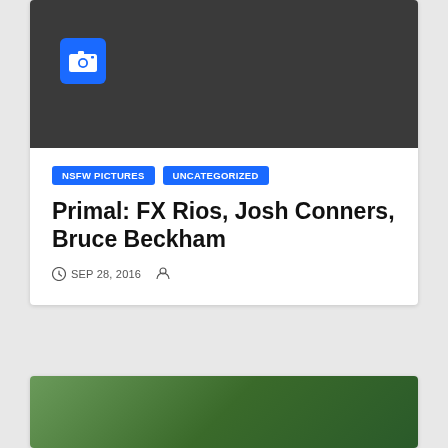[Figure (photo): Dark gray image placeholder with a blue camera icon badge in the upper left area]
NSFW PICTURES   UNCATEGORIZED
Primal: FX Rios, Josh Conners, Bruce Beckham
SEP 28, 2016
[Figure (photo): Photo of two people close together, appearing to be looking downward, with green outdoor background]